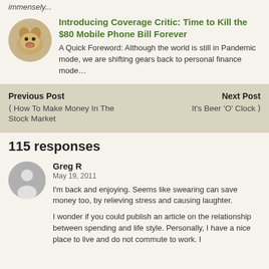immensely...
Introducing Coverage Critic: Time to Kill the $80 Mobile Phone Bill Forever
A Quick Foreword: Although the world is still in Pandemic mode, we are shifting gears back to personal finance mode...
Previous Post
Next Post
< How To Make Money In The Stock Market
It's Beer 'O' Clock >
115 responses
Greg R
May 19, 2011
I'm back and enjoying. Seems like swearing can save money too, by relieving stress and causing laughter.
I wonder if you could publish an article on the relationship between spending and life style. Personally, I have a nice place to live and do not commute to work. I